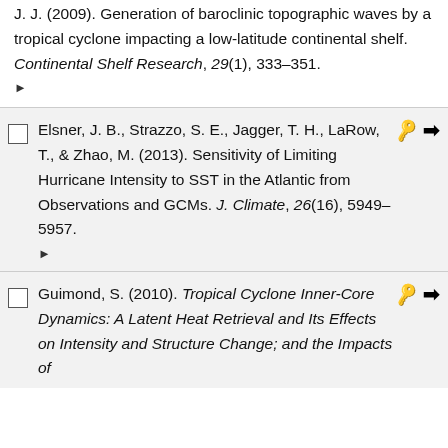J. J. (2009). Generation of baroclinic topographic waves by a tropical cyclone impacting a low-latitude continental shelf. Continental Shelf Research, 29(1), 333–351. ►
Elsner, J. B., Strazzo, S. E., Jagger, T. H., LaRow, T., & Zhao, M. (2013). Sensitivity of Limiting Hurricane Intensity to SST in the Atlantic from Observations and GCMs. J. Climate, 26(16), 5949–5957. ►
Guimond, S. (2010). Tropical Cyclone Inner-Core Dynamics: A Latent Heat Retrieval and Its Effects on Intensity and Structure Change; and the Impacts of